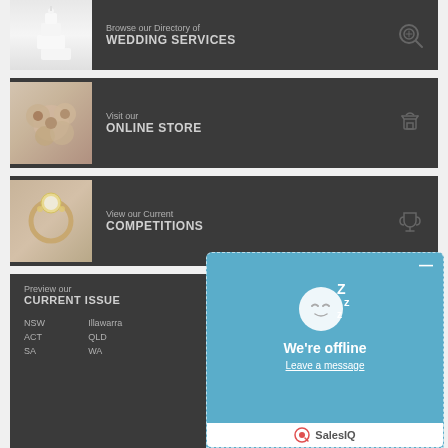[Figure (screenshot): Banner with wedding cake image, text 'Browse our Directory of WEDDING SERVICES' and search icon]
[Figure (screenshot): Banner with flowers image, text 'Visit our ONLINE STORE' and gift icon]
[Figure (screenshot): Banner with diamond ring image, text 'View our Current COMPETITIONS' and trophy icon]
Preview our
CURRENT ISSUE
NSW	Illawarra
ACT	QLD
SA	WA
[Figure (screenshot): SalesIQ chat popup showing sleeping emoji, 'We're offline', 'Leave a message' link, and SalesIQ branding]